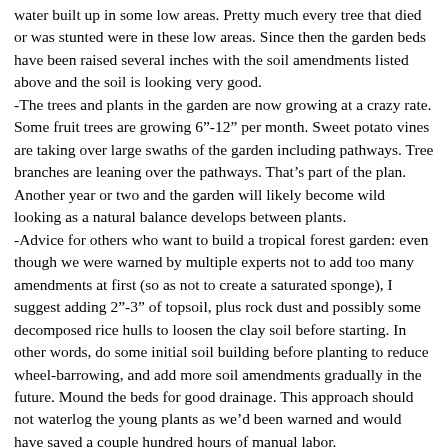water built up in some low areas. Pretty much every tree that died or was stunted were in these low areas. Since then the garden beds have been raised several inches with the soil amendments listed above and the soil is looking very good.
-The trees and plants in the garden are now growing at a crazy rate. Some fruit trees are growing 6"-12" per month. Sweet potato vines are taking over large swaths of the garden including pathways. Tree branches are leaning over the pathways. That's part of the plan. Another year or two and the garden will likely become wild looking as a natural balance develops between plants.
-Advice for others who want to build a tropical forest garden: even though we were warned by multiple experts not to add too many amendments at first (so as not to create a saturated sponge), I suggest adding 2"-3" of topsoil, plus rock dust and possibly some decomposed rice hulls to loosen the clay soil before starting. In other words, do some initial soil building before planting to reduce wheel-barrowing, and add more soil amendments gradually in the future. Mound the beds for good drainage. This approach should not waterlog the young plants as we'd been warned and would have saved a couple hundred hours of manual labor.